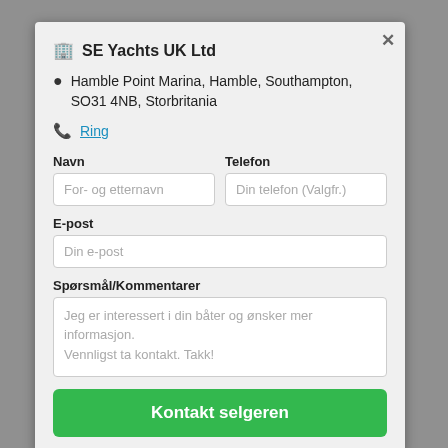SE Yachts UK Ltd
Hamble Point Marina, Hamble, Southampton, SO31 4NB, Storbritania
Ring
Navn
For- og etternavn
Telefon
Din telefon (Valgfr.)
E-post
Din e-post
Spørsmål/Kommentarer
Jeg er interessert i din båter og ønsker mer informasjon.
Vennligst ta kontakt. Takk!
Kontakt selgeren